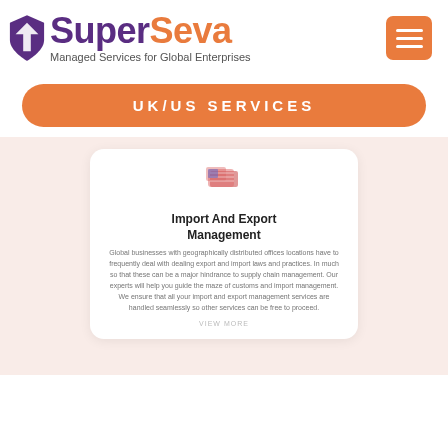[Figure (logo): SuperSeva logo with purple and orange text and shield/arrow icon, and orange hamburger menu button]
Managed Services for Global Enterprises
UK/US SERVICES
[Figure (illustration): Small red/pink flag or parcel icon representing import/export]
Import And Export Management
Global businesses with geographically distributed offices locations have to frequently deal with dealing export and import laws and practices. In much so that these can be a major hindrance to supply chain management. Our experts will help you guide the maze of customs and import management. We ensure that all your import and export management services are handled seamlessly so other services can be free to proceed.
VIEW MORE